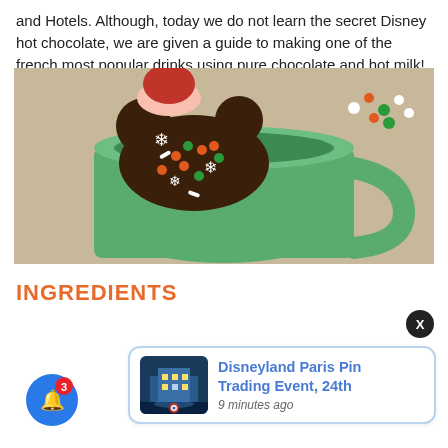and Hotels. Although, today we do not learn the secret Disney hot chocolate, we are given a guide to making one of the french most popular drinks using pure chocolate and hot milk!
[Figure (photo): A green Christmas mug with a Mickey Mouse-shaped chocolate stirrer decorated with colorful sprinkles, snowflakes, and the text 'Joyeux Noël'. A hand with red nails holds the chocolate piece over the mug.]
INGREDIENTS
[Figure (screenshot): A notification card showing 'Disneyland Paris Pin Trading Event, 24th' posted 9 minutes ago, with a thumbnail image of a Disneyland hotel. There is a close button (X) at top right and a blue bell icon with a red badge showing '3' at bottom left.]